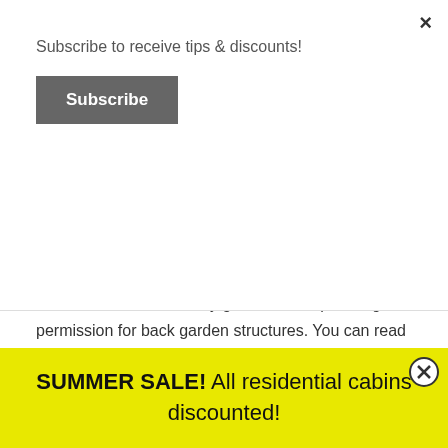Subscribe to receive tips & discounts!
Subscribe
electrical works etc.
Planning permission for log cabins in Ireland
We have created a handy guide around planning permission for back garden structures. You can read it HERE. Also do not hesitate to visit us or contact us if you need any further information.
SUMMER SALE! All residential cabins discounted!